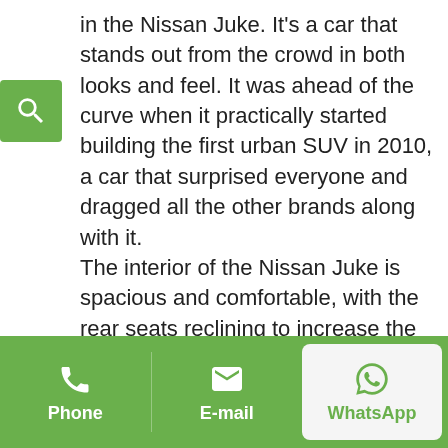in the Nissan Juke. It's a car that stands out from the crowd in both looks and feel. It was ahead of the curve when it practically started building the first urban SUV in 2010, a car that surprised everyone and dragged all the other brands along with it.
The interior of the Nissan Juke is spacious and comfortable, with the rear seats reclining to increase the size of the trunk, which is generous in its dimensions. Driving the Nissan Juke's feels responsive and energetic, while the suspension, although a little stiffer than its rivals, manages to cushion most of the bumps on the road. In curves the car handles very well and provides stability as we drive it through places such as
Phone   E-mail   WhatsApp